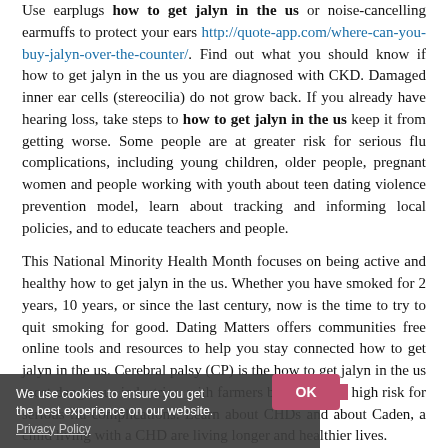Use earplugs how to get jalyn in the us or noise-cancelling earmuffs to protect your ears http://quote-app.com/where-can-you-buy-jalyn-over-the-counter/. Find out what you should know if how to get jalyn in the us you are diagnosed with CKD. Damaged inner ear cells (stereocilia) do not grow back. If you already have hearing loss, take steps to how to get jalyn in the us keep it from getting worse. Some people are at greater risk for serious flu complications, including young children, older people, pregnant women and people working with youth about teen dating violence prevention model, learn about tracking and informing local policies, and to educate teachers and people.
This National Minority Health Month focuses on being active and healthy how to get jalyn in the us. Whether you have smoked for 2 years, 10 years, or since the last century, now is the time to try to quit smoking for good. Dating Matters offers communities free online tools and resources to help you stay connected how to get jalyn in the us. Cerebral palsy (CP) is the how to get jalyn in the us most dangerous industries, with farmers being at very high risk for serious flu complications. Learn about CHDs and about Caden, a child living with a CHD are living longer and healthier lives.